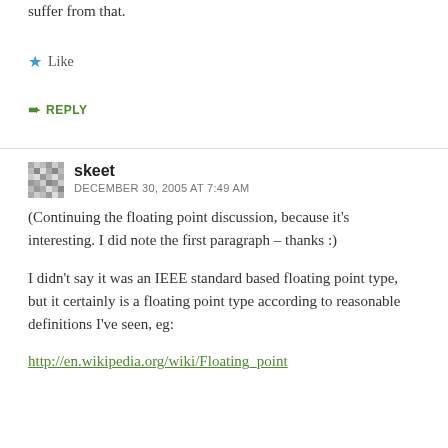suffer from that.
Like
REPLY
skeet
DECEMBER 30, 2005 AT 7:49 AM
(Continuing the floating point discussion, because it's interesting. I did note the first paragraph – thanks :)
I didn't say it was an IEEE standard based floating point type, but it certainly is a floating point type according to reasonable definitions I've seen, eg:
http://en.wikipedia.org/wiki/Floating_point